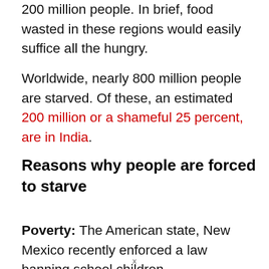200 million people. In brief, food wasted in these regions would easily suffice all the hungry.
Worldwide, nearly 800 million people are starved. Of these, an estimated 200 million or a shameful 25 percent, are in India.
Reasons why people are forced to starve
Poverty: The American state, New Mexico recently enforced a law banning school children
x